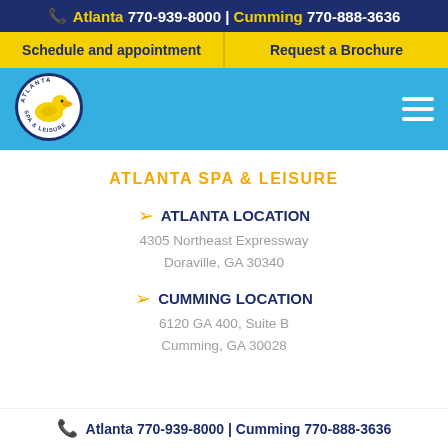Atlanta 770-939-8000 | Cumming 770-888-3636
Schedule and appointment | Request a Brochure
[Figure (logo): Atlanta Spa & Leisure circular logo with yellow duck in center]
ATLANTA SPA & LEISURE
ATLANTA LOCATION
4305 Northeast Expressway
Doraville, GA 30340
CUMMING LOCATION
6120 GA 400, Suite B
Cumming, GA 30028
Atlanta 770-939-8000 | Cumming 770-888-3636